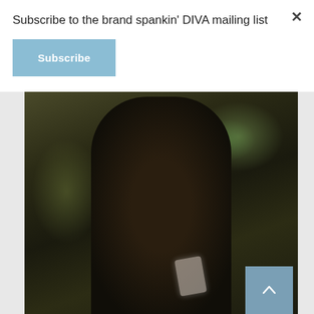Subscribe to the brand spankin' DIVA mailing list
[Figure (other): Subscribe button with light blue background and white bold text reading 'Subscribe']
[Figure (photo): A woman with dark long hair wearing a dark outfit, standing against a dark textured wall with green/teal bokeh lighting, holding a phone/device in her hand. She is slightly smiling and looking to the side.]
[Figure (other): Scroll-to-top button: steel blue square with upward-pointing caret/chevron arrow icon]